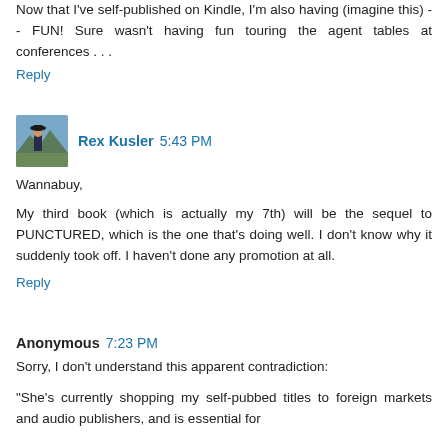Now that I've self-published on Kindle, I'm also having (imagine this) -- FUN! Sure wasn't having fun touring the agent tables at conferences . . .
Reply
Rex Kusler  5:43 PM
Wannabuy,
My third book (which is actually my 7th) will be the sequel to PUNCTURED, which is the one that's doing well. I don't know why it suddenly took off. I haven't done any promotion at all.
Reply
Anonymous  7:23 PM
Sorry, I don't understand this apparent contradiction:
"She's currently shopping my self-pubbed titles to foreign markets and audio publishers, and is essential for